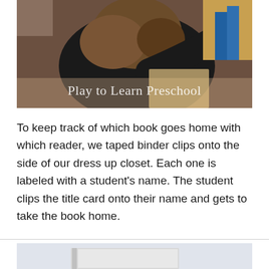[Figure (photo): A child with curly brown hair wearing a dark jacket, leaning over a surface, with the text overlay 'Play to Learn Preschool' at the bottom of the image.]
To keep track of which book goes home with which reader, we taped binder clips onto the side of our dress up closet. Each one is labeled with a student's name. The student clips the title card onto their name and gets to take the book home.
[Figure (photo): Partial view of a light-colored photo showing what appears to be books or materials, cropped at the bottom of the page.]